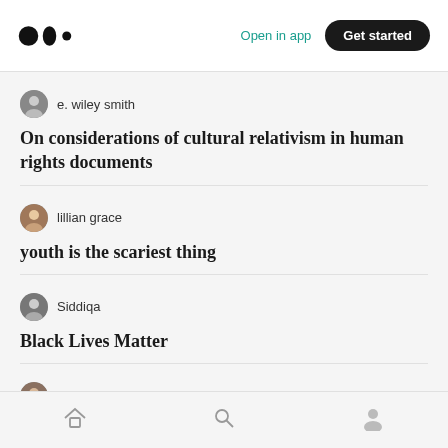Medium logo | Open in app | Get started
e. wiley smith
On considerations of cultural relativism in human rights documents
lillian grace
youth is the scariest thing
Siddiqa
Black Lives Matter
Boratha Tan
An Open Invitation to the Beloved Community
Home | Search | Profile